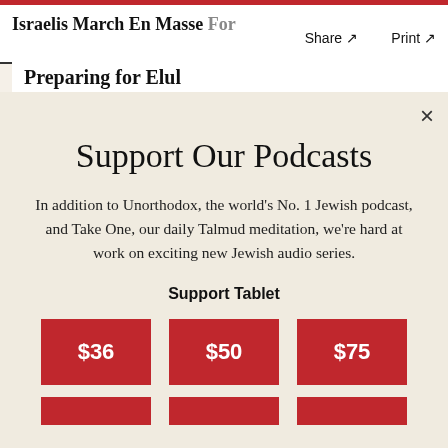Israelis March En Masse Fo... Share ↗  Print ↗
Preparing for Elul
Support Our Podcasts
In addition to Unorthodox, the world's No. 1 Jewish podcast, and Take One, our daily Talmud meditation, we're hard at work on exciting new Jewish audio series.
Support Tablet
$36
$50
$75